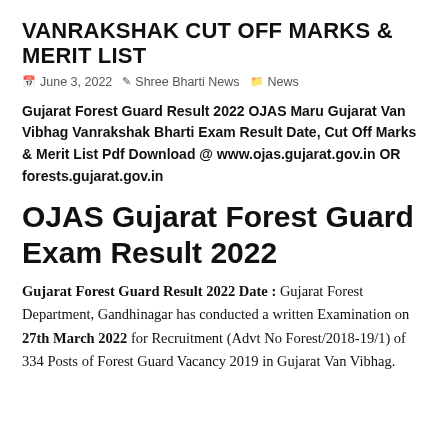VANRAKSHAK CUT OFF MARKS & MERIT LIST
June 3, 2022  Shree Bharti News  News
Gujarat Forest Guard Result 2022 OJAS Maru Gujarat Van Vibhag Vanrakshak Bharti Exam Result Date, Cut Off Marks & Merit List Pdf Download @ www.ojas.gujarat.gov.in OR forests.gujarat.gov.in
OJAS Gujarat Forest Guard Exam Result 2022
Gujarat Forest Guard Result 2022 Date : Gujarat Forest Department, Gandhinagar has conducted a written Examination on 27th March 2022 for Recruitment (Advt No Forest/2018-19/1) of 334 Posts of Forest Guard Vacancy 2019 in Gujarat Van Vibhag.